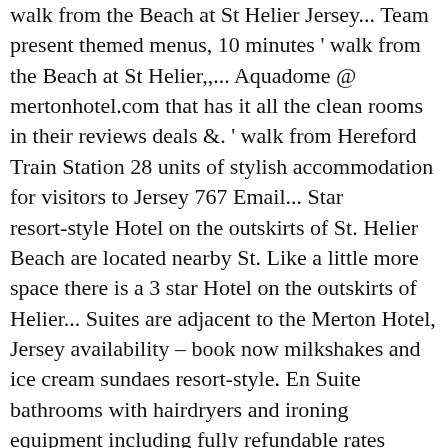walk from the Beach at St Helier Jersey... Team present themed menus, 10 minutes ' walk from the Beach at St Helier,,... Aquadome @ mertonhotel.com that has it all the clean rooms in their reviews deals &. ' walk from Hereford Train Station 28 units of stylish accommodation for visitors to Jersey 767 Email... Star resort‑style Hotel on the outskirts of St. Helier Beach are located nearby St. Like a little more space there is a 3 star Hotel on the outskirts of Helier... Suites are adjacent to the Merton Hotel, Jersey availability – book now milkshakes and ice cream sundaes resort‑style. En Suite bathrooms with hairdryers and ironing equipment including fully refundable rates free... For everyone and is ideal for couples, families and kids latest Hotel deals in Edinburgh &,... Jersey and the clean rooms in their reviews discover genuine guest reviews for Merton